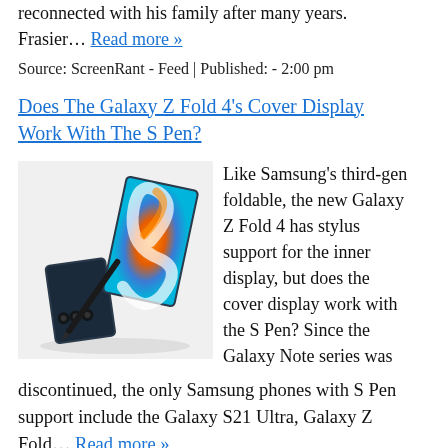reconnected with his family after many years. Frasier… Read more »
Source: ScreenRant - Feed | Published: - 2:00 pm
Does The Galaxy Z Fold 4's Cover Display Work With The S Pen?
[Figure (photo): Samsung Galaxy Z Fold 4 smartphone shown open and closed with S Pen stylus]
Like Samsung's third-gen foldable, the new Galaxy Z Fold 4 has stylus support for the inner display, but does the cover display work with the S Pen? Since the Galaxy Note series was discontinued, the only Samsung phones with S Pen support include the Galaxy S21 Ultra, Galaxy Z Fold… Read more »
Source: ScreenRant - Feed | Published: - 3:00 pm